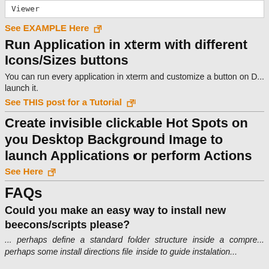[Figure (screenshot): Code box showing 'Viewer' text in monospace font]
See EXAMPLE Here
Run Application in xterm with different Icons/Sizes buttons
You can run every application in xterm and customize a button on Desktop to launch it.
See THIS post for a Tutorial
Create invisible clickable Hot Spots on your Desktop Background Image to launch Applications or perform Actions
See Here
FAQs
Could you make an easy way to install new beecons/scripts please?
... perhaps define a standard folder structure inside a compressed file perhaps some install directions file inside to guide instalation...